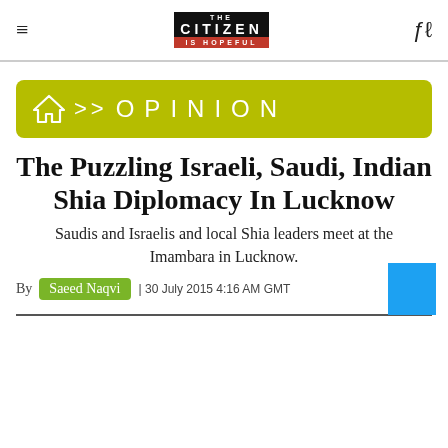THE CITIZEN IS HOPEFUL
[Figure (logo): The Citizen Is Hopeful logo in black and red]
OPINION
The Puzzling Israeli, Saudi, Indian Shia Diplomacy In Lucknow
Saudis and Israelis and local Shia leaders meet at the Imambara in Lucknow.
By Saeed Naqvi | 30 July 2015 4:16 AM GMT